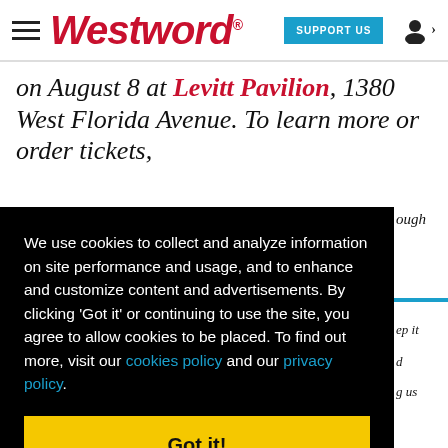Westword — SUPPORT US
on August 8 at Levitt Pavilion, 1380 West Florida Avenue. To learn more or order tickets,
ough
We use cookies to collect and analyze information on site performance and usage, and to enhance and customize content and advertisements. By clicking 'Got it' or continuing to use the site, you agree to allow cookies to be placed. To find out more, visit our cookies policy and our privacy policy.
Got it!
ep it
d
g us
paywalls.